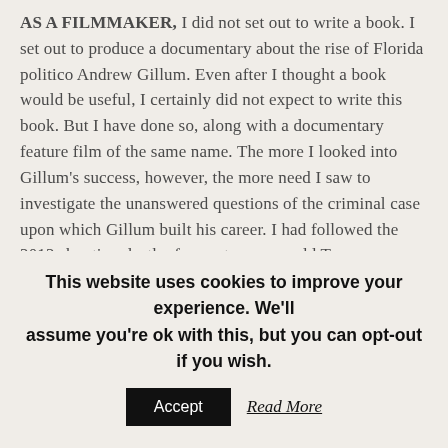AS A FILMMAKER, I did not set out to write a book. I set out to produce a documentary about the rise of Florida politico Andrew Gillum. Even after I thought a book would be useful, I certainly did not expect to write this book. But I have done so, along with a documentary feature film of the same name. The more I looked into Gillum's success, however, the more need I saw to investigate the unanswered questions of the criminal case upon which Gillum built his career. I had followed the 2012 shooting death of seventeen-year-old Trayvon Martin and the subsequent trial of George Zimmerman from afar and
This website uses cookies to improve your experience. We'll assume you're ok with this, but you can opt-out if you wish.
Accept   Read More